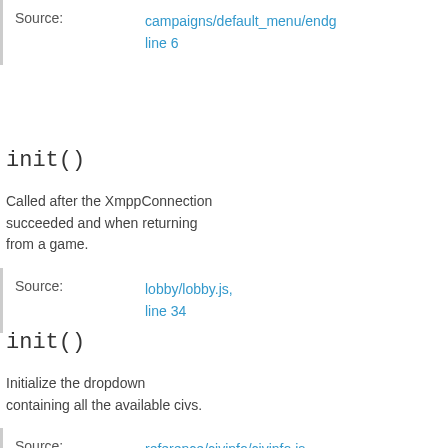Source: campaigns/default_menu/endgame/endg... line 6
init()
Called after the XmppConnection succeeded and when returning from a game.
Source: lobby/lobby.js, line 34
init()
Initialize the dropdown containing all the available civs.
Source: reference/civinfo/civinfo.js, line 4